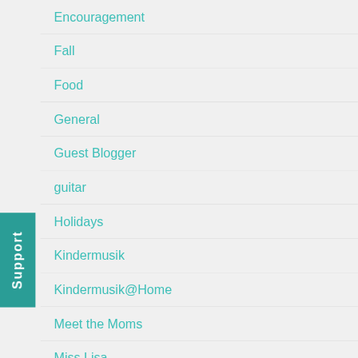Encouragement
Fall
Food
General
Guest Blogger
guitar
Holidays
Kindermusik
Kindermusik@Home
Meet the Moms
Miss Lisa